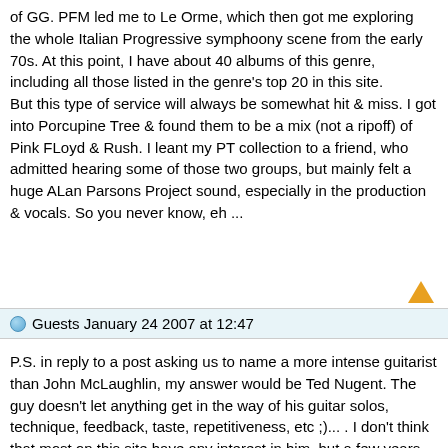of GG. PFM led me to Le Orme, which then got me exploring the whole Italian Progressive symphoony scene from the early 70s. At this point, I have about 40 albums of this genre, including all those listed in the genre's top 20 in this site.
But this type of service will always be somewhat hit & miss. I got into Porcupine Tree & found them to be a mix (not a ripoff) of Pink FLoyd & Rush. I leant my PT collection to a friend, who admitted hearing some of those two groups, but mainly felt a huge ALan Parsons Project sound, especially in the production & vocals. So you never know, eh ...
Guests January 24 2007 at 12:47
P.S. in reply to a post asking us to name a more intense guitarist than John McLaughlin, my answer would be Ted Nugent. The guy doesn't let anything get in the way of his guitar solos, technique, feedback, taste, repetitiveness, etc ;)... . I don't think that most on this site have any interest in him, but a few years ago, I was surprised to find out that a number of new punk groups thought he was the nastiest player ( in a good way) in hard edged music. This was before the pop punk thing